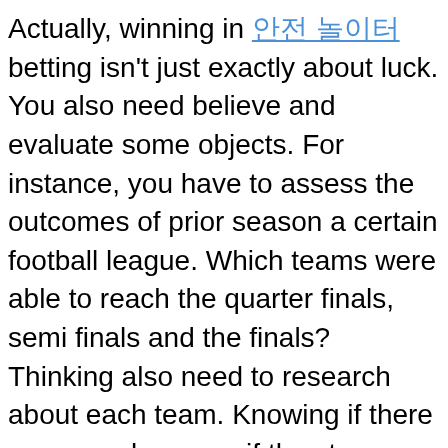Actually, winning in 안전 놀이터 betting isn't just exactly about luck. You also need believe and evaluate some objects. For instance, you have to assess the outcomes of prior season a certain football league. Which teams were able to reach the quarter finals, semi finals and the finals? Thinking also need to research about each team. Knowing if there are new players or if the star player of its own team will not play your season will help you assess each team's chances of winning. By researching weren't aspects of the league, teams and players, you are fully aware of which team is stronger than the additional and several have another prediction of the games and league.
I'm now in the whole process of doing research to fix areas of deficiency the program. I'm working in